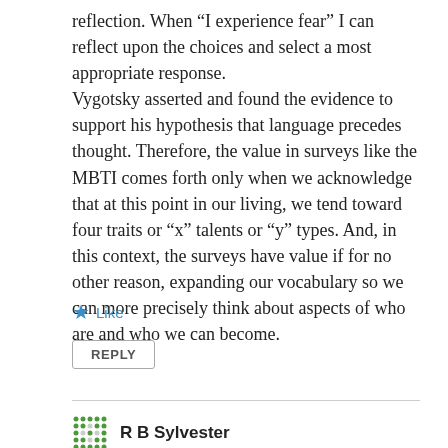reflection. When “I experience fear” I can reflect upon the choices and select a most appropriate response.
Vygotsky asserted and found the evidence to support his hypothesis that language precedes thought. Therefore, the value in surveys like the MBTI comes forth only when we acknowledge that at this point in our living, we tend toward four traits or “x” talents or “y” types. And, in this context, the surveys have value if for no other reason, expanding our vocabulary so we can more precisely think about aspects of who are and who we can become.
★ Like
REPLY
R B Sylvester